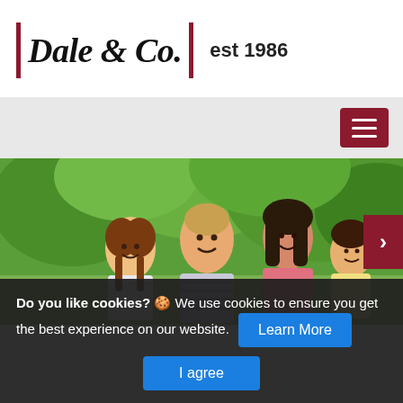Dale & Co. | est 1986
[Figure (screenshot): Navigation bar with hamburger menu button in dark red]
[Figure (photo): A family of four (father, mother, and two daughters) sitting outdoors in a green park, smiling and interacting with each other]
Do you like cookies? 🍪 We use cookies to ensure you get the best experience on our website. Learn More I agree